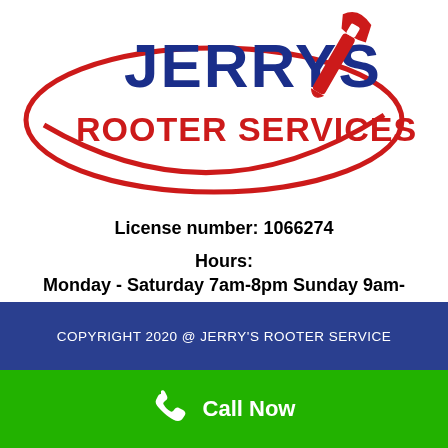[Figure (logo): Jerry's Rooter Services logo with red oval swoosh, blue text 'JERRYS' and red text 'ROOTER SERVICES', and a red pipe wrench icon]
License number: 1066274
Hours:
Monday - Saturday 7am-8pm Sunday 9am-6pm
535 W Allen Ave Unit 21 San Dimas, CA 91773
COPYRIGHT 2020 @ JERRY'S ROOTER SERVICE
Call Now